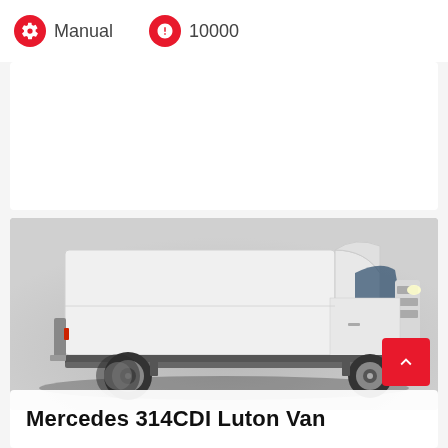Manual
10000
[Figure (photo): Side profile photo of a white Mercedes 314CDI Luton Van with a large box body on a grey background]
Mercedes 314CDI Luton Van